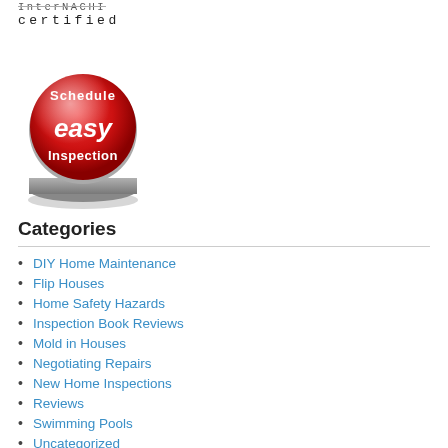[Figure (logo): InterNACHI certified logo with text in monospace style]
[Figure (illustration): Red circular button with white text reading 'Schedule easy Inspection' with metallic base]
Categories
DIY Home Maintenance
Flip Houses
Home Safety Hazards
Inspection Book Reviews
Mold in Houses
Negotiating Repairs
New Home Inspections
Reviews
Swimming Pools
Uncategorized